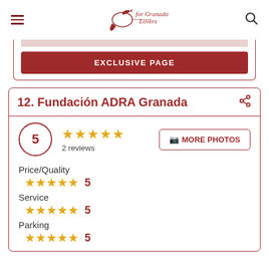for Granada Lovers
EXCLUSIVE PAGE
12. Fundación ADRA Granada
5 · 2 reviews
MORE PHOTOS
Price/Quality 5
Service 5
Parking 5